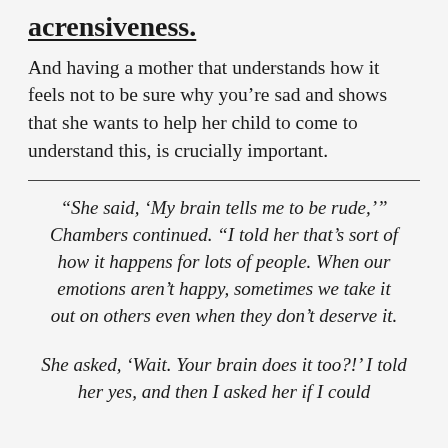acrensiveness.
And having a mother that understands how it feels not to be sure why you’re sad and shows that she wants to help her child to come to understand this, is crucially important.
“She said, ‘My brain tells me to be rude,’” Chambers continued. “I told her that’s sort of how it happens for lots of people. When our emotions aren’t happy, sometimes we take it out on others even when they don’t deserve it.
She asked, ‘Wait. Your brain does it too?!’ I told her yes, and then I asked her if I could